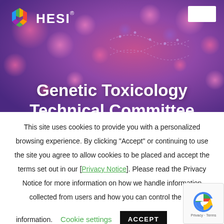[Figure (photo): HESI website screenshot showing a purple/magenta molecular biology background image with the HESI logo and navigation bar at the top, and large white bold text reading 'Genetic Toxicology Technical Committee' overlaid on the hero image.]
Genetic Toxicology Technical Committee
This site uses cookies to provide you with a personalized browsing experience. By clicking “Accept” or continuing to use the site you agree to allow cookies to be placed and accept the terms set out in our [Privacy Notice]. Please read the Privacy Notice for more information on how we handle information collected from users and how you can control the use information.
Cookie settings   ACCEPT